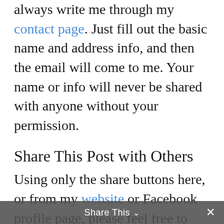always write me through my contact page. Just fill out the basic name and address info, and then the email will come to me. Your name or info will never be shared with anyone without your permission.
Share This Post with Others
Using only the share buttons here, or from my website or Facebook profile page, please feel free to share about my website or this blog post with others in your social media circles so we can work together in encouraging others
Share This ∨  ✕